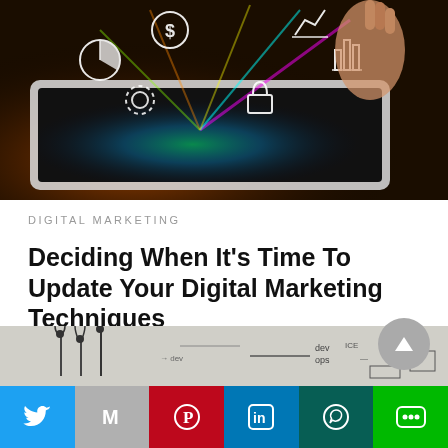[Figure (photo): Hand touching a tablet device with glowing digital marketing icons (charts, graphs, dollar sign, shopping cart) floating above the screen in neon colors against dark background]
DIGITAL MARKETING
Deciding When It's Time To Update Your Digital Marketing Techniques
Your current digital marketing techniques aren't going to produce results forever. To address this, you…
1 month ago
[Figure (photo): Partial bottom strip showing a whiteboard with diagrams and text, partially visible]
[Figure (infographic): Social media share bar with Twitter (blue), Gmail (gray), Pinterest (red), LinkedIn (blue), WhatsApp (teal), LINE (green) buttons]